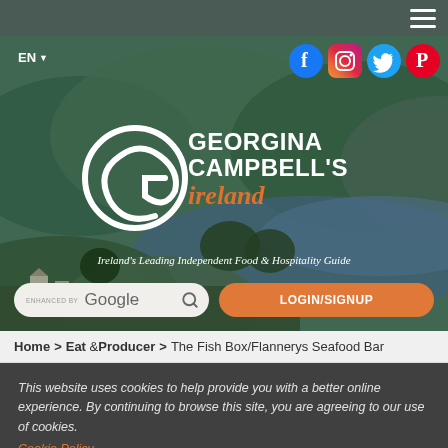[Figure (screenshot): Website header with top navigation bar containing hamburger menu, hero image of Irish landscape, language selector EN, social media icons (Facebook, Instagram, Twitter, Pinterest), Georgina Campbell's Ireland logo with G letterform, tagline, search box, and login/signup button]
Home > Eat & Producer > The Fish Box/Flannerys Seafood Bar
This website uses cookies to help provide you with a better online experience. By continuing to browse this site, you are agreeing to our use of cookies.
Cookie Policy
I agree